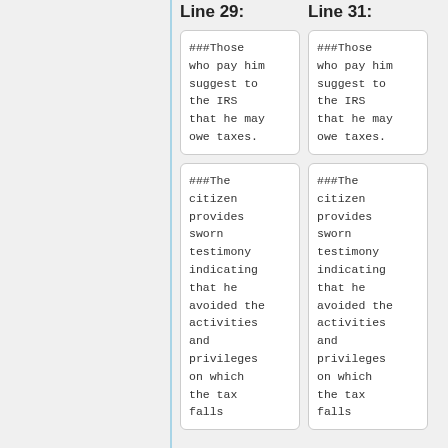Line 29:
Line 31:
###Those who pay him suggest to the IRS that he may owe taxes.
###Those who pay him suggest to the IRS that he may owe taxes.
###The citizen provides sworn testimony indicating that he avoided the activities and privileges on which the tax falls
###The citizen provides sworn testimony indicating that he avoided the activities and privileges on which the tax falls